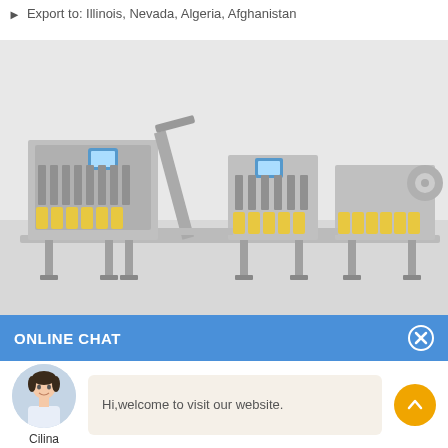Export to: Illinois, Nevada, Algeria, Afghanistan
[Figure (photo): Industrial bottling/filling machine production line with yellow bottles on conveyor, showing filling, capping, and labeling stations in grey metal frames]
ONLINE CHAT
[Figure (photo): Avatar photo of a young woman named Cilina in a white blouse]
Hi,welcome to visit our website.
Cilina